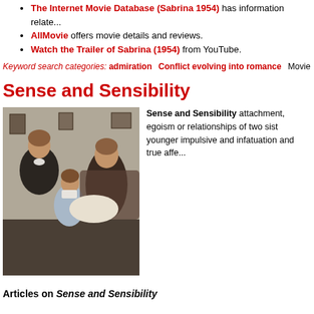The Internet Movie Database (Sabrina 1954) has information relate...
AllMovie offers movie details and reviews.
Watch the Trailer of Sabrina (1954) from YouTube.
Keyword search categories: admiration  Conflict evolving into romance  Movie  P...
Sense and Sensibility
[Figure (photo): Three women in period costume from the film Sense and Sensibility, posed together in an indoor setting.]
Sense and Sensibility attachment, egoism or relationships of two sist younger impulsive and infatuation and true affe...
Articles on Sense and Sensibility